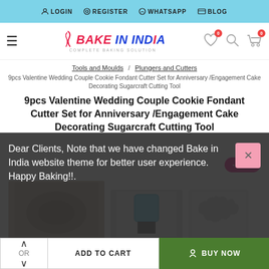LOGIN  REGISTER  WHATSAPP  BLOG
[Figure (logo): Bake In India logo with chili pepper icon and tagline COMPLETE BAKING SOLUTION]
Tools and Moulds / Plungers and Cutters
9pcs Valentine Wedding Couple Cookie Fondant Cutter Set for Anniversary /Engagement Cake Decorating Sugarcraft Cutting Tool
9pcs Valentine Wedding Couple Cookie Fondant Cutter Set for Anniversary /Engagement Cake Decorating Sugarcraft Cutting Tool
-26 %
[Figure (photo): Product images of cookie fondant cutter set]
Dear Clients, Note that we have changed Bake in India website theme for better user experience. Happy Baking!!.
ADD TO CART
BUY NOW